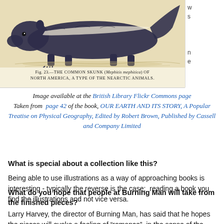[Figure (illustration): Engraving of a common skunk on a light cream/yellow background, showing the animal in profile with fur detail. Partial crop at top of page.]
Fig. 23.—THE COMMON SKUNK (Mephitis mephitica) OF NORTH AMERICA, A TYPE OF THE NEARCTIC ANIMALS.
Image available at the British Library Flickr Commons page
Taken from page 42 of the book, OUR EARTH AND ITS STORY, A Popular Treatise on Physical Geography, Edited by Robert Brown, Published by Cassell and Company Limited
What is special about a collection like this?
Being able to use illustrations as a way of approaching books is interesting - typically the reverse is the case;  reading a book you find the illustrations and not vice versa.
What do you hope that people at Burning Man will take from the finished pieces?
Larry Harvey, the director of Burning Man, has said that he hopes the pieces will evoke a feeling of “romance”, in the sense of the romanticism of myths and fairytales such as the Arabian Nights.  I will concur with